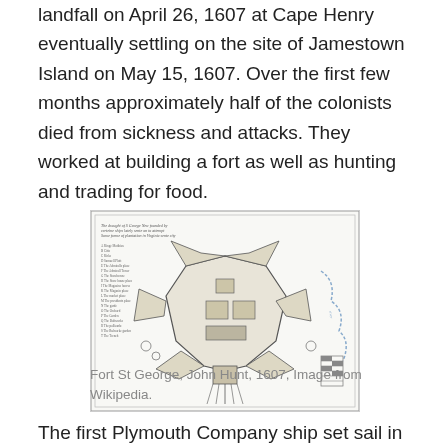landfall on April 26, 1607 at Cape Henry eventually settling on the site of Jamestown Island on May 15, 1607. Over the first few months approximately half of the colonists died from sickness and attacks. They worked at building a fort as well as hunting and trading for food.
[Figure (illustration): Historical pen-and-ink map/illustration of Fort St George showing a star-shaped fort layout with surrounding landscape, rivers, and a legend on the left side. Drawn by John Hunt, 1607.]
Fort St George, John Hunt, 1607, Image from Wikipedia.
The first Plymouth Company ship set sail in August 1606